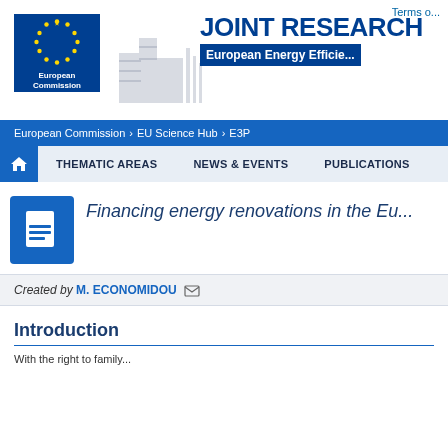Terms of...
[Figure (logo): European Commission logo with blue background, yellow stars circle, and text 'European Commission'. Decorative gray building silhouette to the right. JOINT RESEARCH text and 'European Energy Efficie...' subtitle on the right side.]
European Commission > EU Science Hub > E3P
THEMATIC AREAS | NEWS & EVENTS | PUBLICATIONS
Financing energy renovations in the Eu...
Created by M. ECONOMIDOU
Introduction
With the right to family...